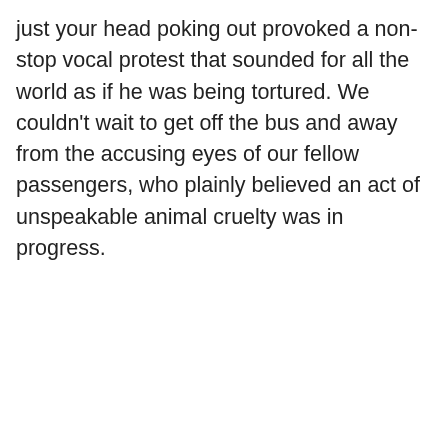just your head poking out provoked a non-stop vocal protest that sounded for all the world as if he was being tortured. We couldn't wait to get off the bus and away from the accusing eyes of our fellow passengers, who plainly believed an act of unspeakable animal cruelty was in progress.
[Figure (other): Advertisement banner with partial text 'the go.' in large serif italic font, 'GET THE APP' in blue text, and a WordPress logo icon on the right side, on a light blue-grey background.]
Privacy & Cookies: This site uses cookies. By continuing to use this website, you agree to their use.
To find out more, including how to control cookies, see here: Cookie Policy
Close and accept